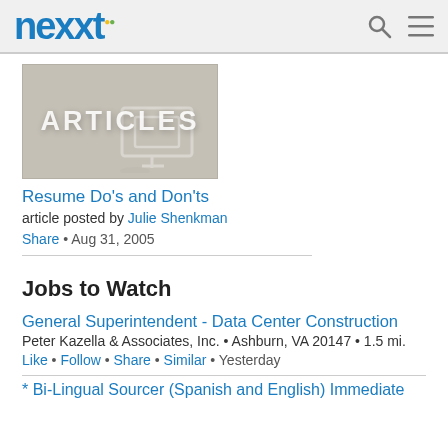nexxt
[Figure (illustration): Articles banner image showing a monitor/computer screen with the word ARTICLES in large white bold text, on a grey background]
Resume Do's and Don'ts
article posted by Julie Shenkman
Share • Aug 31, 2005
Jobs to Watch
General Superintendent - Data Center Construction
Peter Kazella & Associates, Inc. • Ashburn, VA 20147 • 1.5 mi.
Like • Follow • Share • Similar • Yesterday
* Bi-Lingual Sourcer (Spanish and English) Immediate